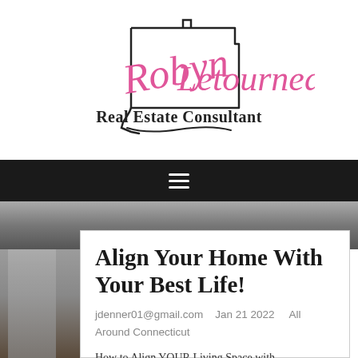[Figure (logo): Robyn Letourneau Real Estate Consultant logo with cursive pink text and Connecticut state outline]
[Figure (other): Navigation bar with hamburger menu icon on dark background]
[Figure (photo): Partial hero image showing a person in dark clothing]
Align Your Home With Your Best Life!
jdenner01@gmail.com   Jan 21 2022   All Around Connecticut
How to Align YOUR Living Space with